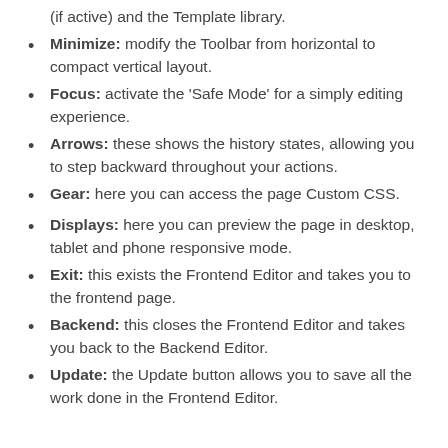(if active) and the Template library.
Minimize: modify the Toolbar from horizontal to compact vertical layout.
Focus: activate the ‘Safe Mode’ for a simply editing experience.
Arrows: these shows the history states, allowing you to step backward throughout your actions.
Gear: here you can access the page Custom CSS.
Displays: here you can preview the page in desktop, tablet and phone responsive mode.
Exit: this exists the Frontend Editor and takes you to the frontend page.
Backend: this closes the Frontend Editor and takes you back to the Backend Editor.
Update: the Update button allows you to save all the work done in the Frontend Editor.